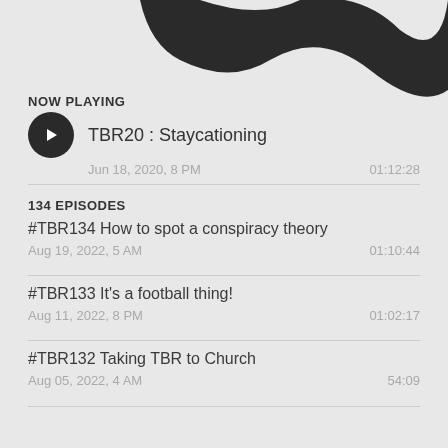[Figure (illustration): Dark wavy decorative shape in top-right corner]
NOW PLAYING
TBR20 : Staycationing — Jun 18, 2020, 8 PM — 01:12:28
134 EPISODES
#TBR134 How to spot a conspiracy theory — Aug 19, 2022, 5 AM — 01:10:44
#TBR133 It's a football thing! — Aug 11, 2022, 8 PM — 01:02:17
#TBR132 Taking TBR to Church — Aug 05, 2022, 4 AM — 54:09